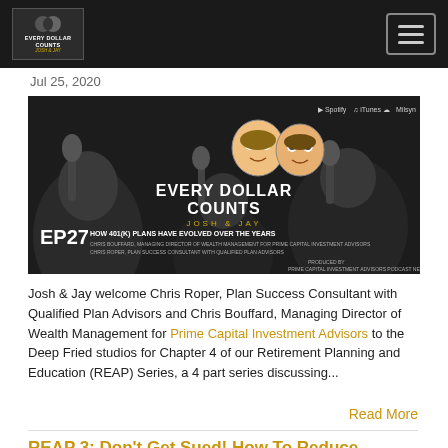Every Dollar Counts — navigation bar with logo and hamburger menu
Jul 25, 2020
[Figure (screenshot): Podcast banner for Every Dollar Counts with Josh & Jay, EP27 — How 401(k) Plans Have Evolved Over the Years. Black and white photo of people in a podcast studio with microphones. Illustrated cartoon faces of Josh and Jay overlaid. Streaming platform icons (Spotify, iTunes, SoundCloud, Milsyn) in top right. Produced by Prime Capital Investment Advisors Podcast Network.]
Josh & Jay welcome Chris Roper, Plan Success Consultant with Qualified Plan Advisors and Chris Bouffard, Managing Director of Wealth Management for Prime Capital Investment Advisors to the Deep Fried studios for Chapter 4 of our Retirement Planning and Education (REAP) Series, a 4 part series discussing...
Read More
REAP 3: Don't Get Sued! How To Reduce Liability to Your 401(k) Pl...